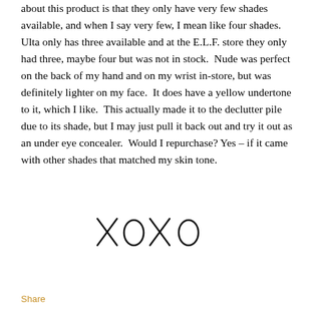about this product is that they only have very few shades available, and when I say very few, I mean like four shades.  Ulta only has three available and at the E.L.F. store they only had three, maybe four but was not in stock.  Nude was perfect on the back of my hand and on my wrist in-store, but was definitely lighter on my face.  It does have a yellow undertone to it, which I like.  This actually made it to the declutter pile due to its shade, but I may just pull it back out and try it out as an under eye concealer.  Would I repurchase? Yes – if it came with other shades that matched my skin tone.
[Figure (illustration): Handwritten XOXO signature in black ink]
Share